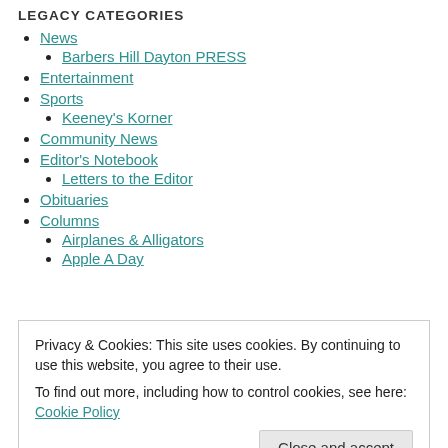LEGACY CATEGORIES
News
Barbers Hill Dayton PRESS
Entertainment
Sports
Keeney's Korner
Community News
Editor's Notebook
Letters to the Editor
Obituaries
Columns
Airplanes & Alligators
Apple A Day
Privacy & Cookies: This site uses cookies. By continuing to use this website, you agree to their use.
To find out more, including how to control cookies, see here: Cookie Policy
Horsefeathers